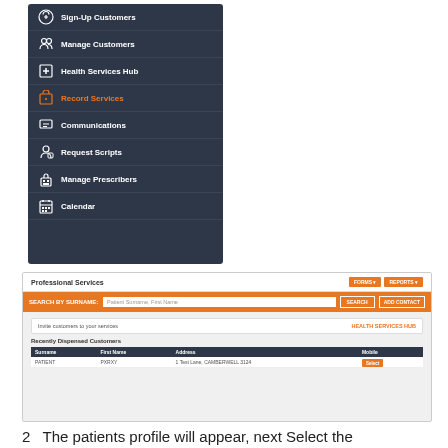[Figure (screenshot): Navigation sidebar menu showing: Sign-Up Customers, Manage Customers, Health Services Hub, Record Services (active/highlighted in orange), Communications, Request Scripts, Manage Prescribers, Calendar]
[Figure (screenshot): Professional Services screen showing search by surname bar, invite customers section with Health Services Hub link, and Recently Dispensed Customers table with columns Surname, First Name, Address, Mobile and one sample row]
2   The patients profile will appear, next Select the